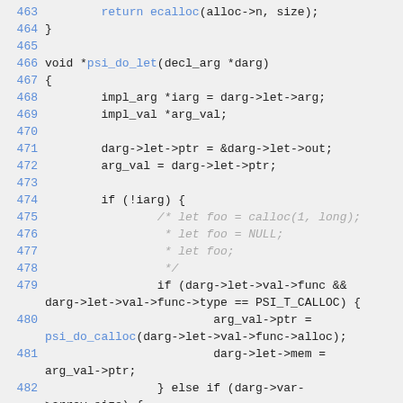Source code listing lines 463-483, C programming language, function psi_do_let and related code